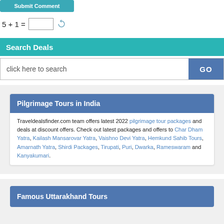Submit Comment
Search Deals
click here to search
Pilgrimage Tours in India
Traveldealsfinder.com team offers latest 2022 pilgrimage tour packages and deals at discount offers. Check out latest packages and offers to Char Dham Yatra, Kailash Mansarovar Yatra, Vaishno Devi Yatra, Hemkund Sahib Tours, Amarnath Yatra, Shirdi Packages, Tirupati, Puri, Dwarka, Rameswaram and Kanyakumari.
Famous Uttarakhand Tours